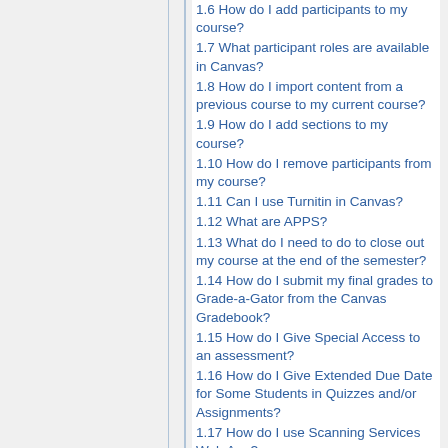1.6 How do I add participants to my course?
1.7 What participant roles are available in Canvas?
1.8 How do I import content from a previous course to my current course?
1.9 How do I add sections to my course?
1.10 How do I remove participants from my course?
1.11 Can I use Turnitin in Canvas?
1.12 What are APPS?
1.13 What do I need to do to close out my course at the end of the semester?
1.14 How do I submit my final grades to Grade-a-Gator from the Canvas Gradebook?
1.15 How do I Give Special Access to an assessment?
1.16 How do I Give Extended Due Date for Some Students in Quizzes and/or Assignments?
1.17 How do I use Scanning Services Web App?
1.18 How do I...